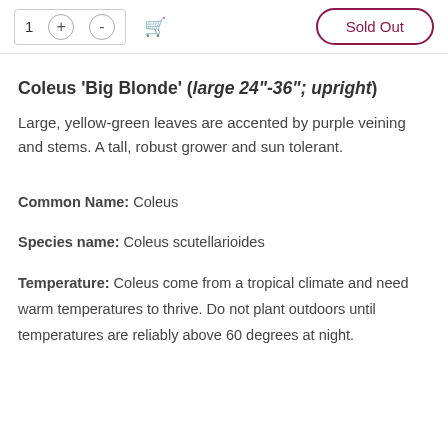[Figure (screenshot): E-commerce UI showing quantity selector with 1, + and - buttons, a cart icon, and a Sold Out button with rounded border in dark pink/maroon color.]
Coleus 'Big Blonde' (large 24"-36"; upright)
Large, yellow-green leaves are accented by purple veining and stems. A tall, robust grower and sun tolerant.
Common Name: Coleus
Species name: Coleus scutellarioides
Temperature: Coleus come from a tropical climate and need warm temperatures to thrive. Do not plant outdoors until temperatures are reliably above 60 degrees at night.